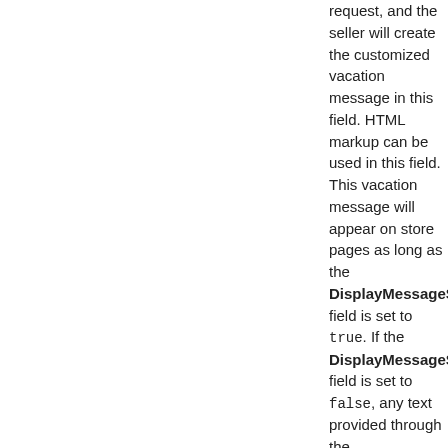request, and the seller will create the customized vacation message in this field. HTML markup can be used in this field. This vacation message will appear on store pages as long as the DisplayMessageStore field is set to true. If the DisplayMessageStore field is set to false, any text provided through the